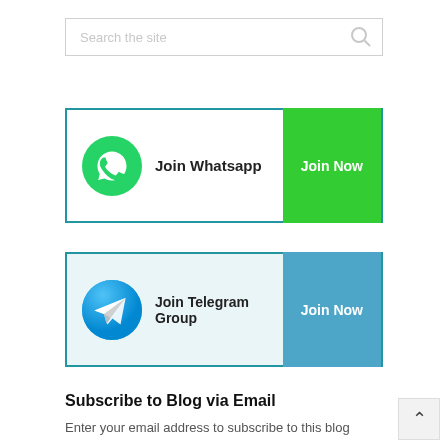[Figure (screenshot): Search box with placeholder text 'Search the site' and a search icon on the right]
[Figure (infographic): WhatsApp join banner with green WhatsApp logo icon, text 'Join Whatsapp', and a green 'Join Now' button]
[Figure (infographic): Telegram join banner with blue Telegram logo icon, text 'Join Telegram Group', and a blue 'Join Now' button]
Subscribe to Blog via Email
Enter your email address to subscribe to this blog